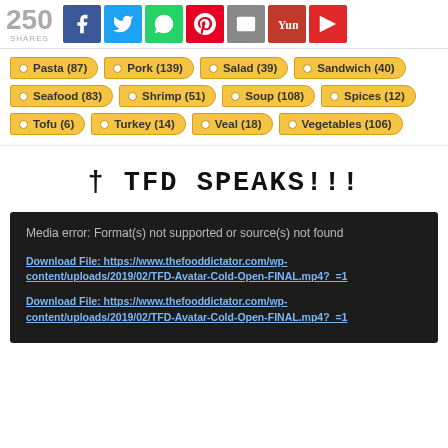[Figure (infographic): Social share bar with 250 shares count and icons for Facebook, Twitter, WhatsApp, Pinterest, Email, Yummly, Flipboard]
Pasta (87)
Pork (139)
Salad (39)
Sandwich (40)
Seafood (83)
Shrimp (51)
Soup (108)
Spices (12)
Tofu (6)
Turkey (14)
Veal (18)
Vegetables (106)
✝ TFD SPEAKS!!!
Media error: Format(s) not supported or source(s) not found
Download File: https://www.thefooddictator.com/wp-content/uploads/2019/02/TFD-Avatar-Cold-Open-FINAL.mp4?_=1
Download File: https://www.thefooddictator.com/wp-content/uploads/2019/02/TFD-Avatar-Cold-Open-FINAL.mp4?_=1